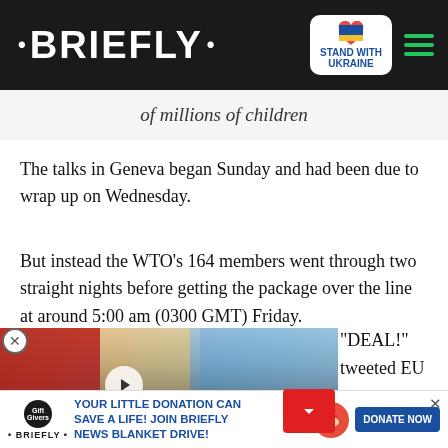• BRIEFLY •
of millions of children
The talks in Geneva began Sunday and had been due to wrap up on Wednesday.
But instead the WTO's 164 members went through two straight nights before getting the package over the line at around 5:00 am (0300 GMT) Friday.
"DEAL!" tweeted EU trade commissioner Valdis Dombrovskis ...arly 36 hours into overtime.
...oonference (MC12) reeled in a ...subsidies after more than two ...reached agreements on e-...
[Figure (screenshot): Advertisement overlay showing two people with text 'IS SHE THE REASON FOR HIS PASSING?' and a video play button]
YOUR LITTLE DONATION CAN SAVE A LIFE! JOIN BRIEFLY NEWS BLANKET DRIVE! DONATE NOW